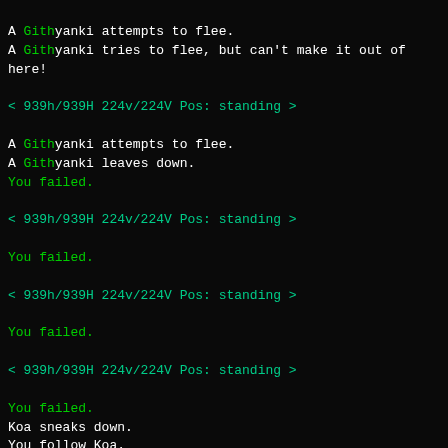A Githyanki attempts to flee.
A Githyanki tries to flee, but can't make it out of here!
< 939h/939H 224v/224V Pos: standing >
A Githyanki attempts to flee.
A Githyanki leaves down.
You failed.
< 939h/939H 224v/224V Pos: standing >
You failed.
< 939h/939H 224v/224V Pos: standing >
You failed.
< 939h/939H 224v/224V Pos: standing >
You failed.
Koa sneaks down.
You follow Koa.
Waiting Room of the Inn
Obvious exits: -W# -U
*Koa  -=Celestial Sigil=- (Barbarian)(large) stands in mid-air here.(Gold Aura)
*A Githyanki (medium)  *-* Warlords *-* stands in mi